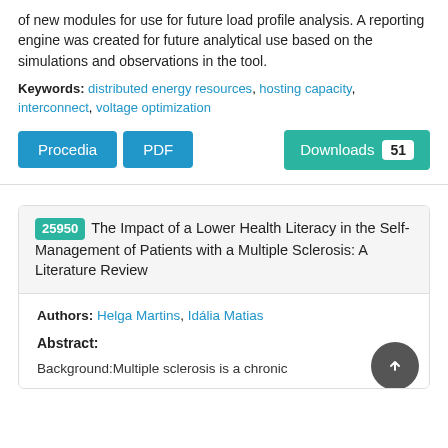of new modules for use for future load profile analysis. A reporting engine was created for future analytical use based on the simulations and observations in the tool.
Keywords: distributed energy resources, hosting capacity, interconnect, voltage optimization
Procedia | PDF | Downloads 51
25950 The Impact of a Lower Health Literacy in the Self-Management of Patients with a Multiple Sclerosis: A Literature Review
Authors: Helga Martins, Idália Matias
Abstract:
Background:Multiple sclerosis is a chronic